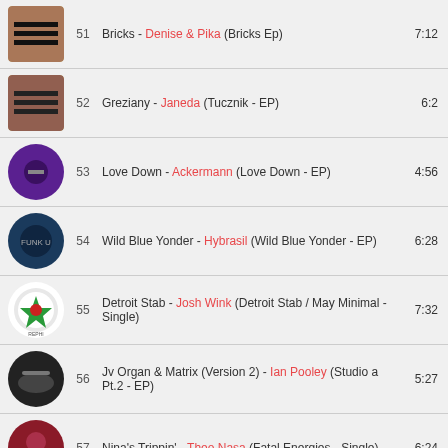51  Bricks - Denise & Pika (Bricks Ep)  7:12
52  Greziany - Janeda (Tucznik - EP)  6:2
53  Love Down - Ackermann (Love Down - EP)  4:56
54  Wild Blue Yonder - Hybrasil (Wild Blue Yonder - EP)  6:28
55  Detroit Stab - Josh Wink (Detroit Stab / May Minimal - Single)  7:32
56  Jv Organ & Matrix (Version 2) - Ian Pooley (Studio a Pt.2 - EP)  5:27
57  Nina's Trippin' - Theo Nasa (Fatal Energies - Single)  6:24
58  (partial, cut off)